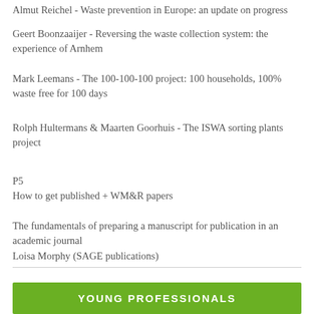Almut Reichel - Waste prevention in Europe: an update on progress
Geert Boonzaaijer - Reversing the waste collection system: the experience of Arnhem
Mark Leemans - The 100-100-100 project: 100 households, 100% waste free for 100 days
Rolph Hultermans & Maarten Goorhuis - The ISWA sorting plants project
P5
How to get published + WM&R papers
The fundamentals of preparing a manuscript for publication in an academic journal
Loisa Morphy (SAGE publications)
YOUNG PROFESSIONALS